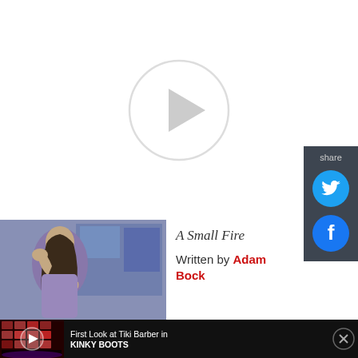[Figure (other): Video player placeholder with large circular play button on white background]
share
[Figure (other): Twitter share icon (blue bird) on dark sidebar]
[Figure (other): Facebook share icon (blue 'f') on dark sidebar]
[Figure (photo): Performer on stage with hand on forehead, purple/blue background]
A Small Fire
Written by Adam Bock
[Figure (photo): Ad banner showing stage scene from Kinky Boots with play button]
First Look at Tiki Barber in KINKY BOOTS